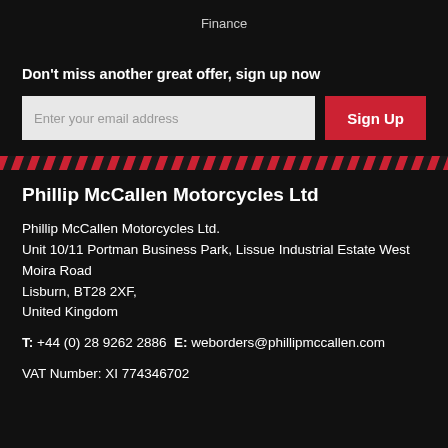Finance
Don't miss another great offer, sign up now
[Figure (screenshot): Email signup form with input field 'Enter your email address' and a red 'Sign Up' button]
[Figure (other): Red and black diagonal stripe divider bar]
Phillip McCallen Motorcycles Ltd
Phillip McCallen Motorcycles Ltd.
Unit 10/11 Portman Business Park, Lissue Industrial Estate West
Moira Road
Lisburn, BT28 2XF,
United Kingdom
T: +44 (0) 28 9262 2886 E: weborders@phillipmccallen.com
VAT Number: XI 774346702